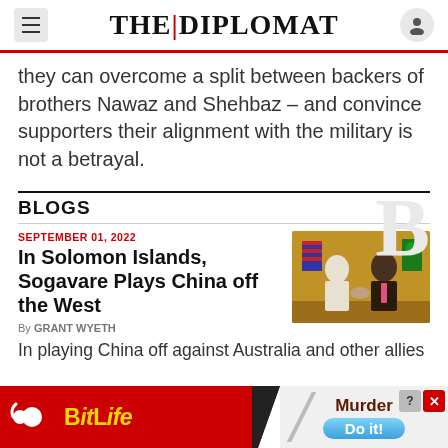THE DIPLOMAT
they can overcome a split between backers of brothers Nawaz and Shehbaz – and convince supporters their alignment with the military is not a betrayal.
BLOGS
SEPTEMBER 01, 2022
In Solomon Islands, Sogavare Plays China off the West
By GRANT WYETH
[Figure (photo): Two people shaking hands at a formal diplomatic event, with flags in the background.]
In playing China off against Australia and other allies
[Figure (other): BitLife advertisement banner with Murder/Do it! text]